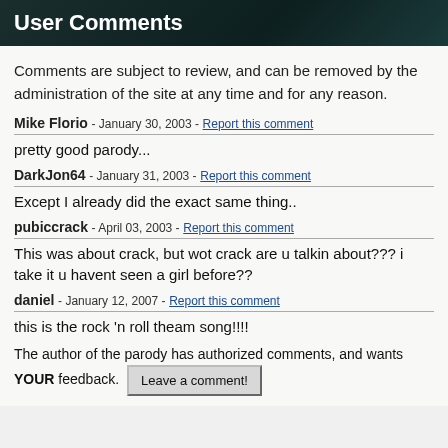User Comments
Comments are subject to review, and can be removed by the administration of the site at any time and for any reason.
Mike Florio - January 30, 2003 - Report this comment
pretty good parody...
DarkJon64 - January 31, 2003 - Report this comment
Except I already did the exact same thing..
pubiccrack - April 03, 2003 - Report this comment
This was about crack, but wot crack are u talkin about??? i take it u havent seen a girl before??
daniel - January 12, 2007 - Report this comment
this is the rock 'n roll theam song!!!!
The author of the parody has authorized comments, and wants YOUR feedback. Leave a comment!